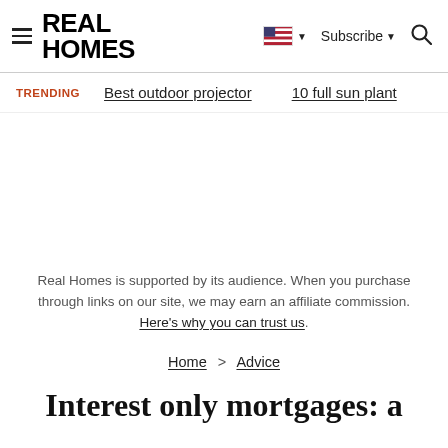REAL HOMES
TRENDING   Best outdoor projector   10 full sun plant
Real Homes is supported by its audience. When you purchase through links on our site, we may earn an affiliate commission. Here's why you can trust us.
Home > Advice
Interest only mortgages: a